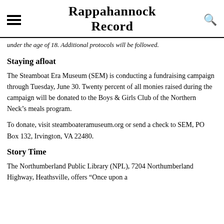Rappahannock Record
under the age of 18. Additional protocols will be followed.
Staying afloat
The Steamboat Era Museum (SEM) is conducting a fundraising campaign through Tuesday, June 30. Twenty percent of all monies raised during the campaign will be donated to the Boys & Girls Club of the Northern Neck’s meals program.
To donate, visit steamboateramuseum.org or send a check to SEM, PO Box 132, Irvington, VA 22480.
Story Time
The Northumberland Public Library (NPL), 7204 Northumberland Highway, Heathsville, offers “Once upon a